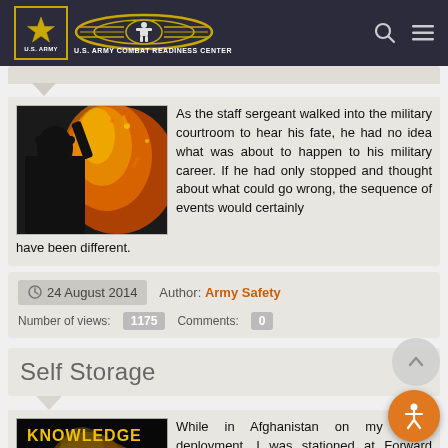U.S. ARMY · U.S. ARMY COMBAT READINESS CENTER
[Figure (photo): Silhouette of soldier against fire/explosion background]
As the staff sergeant walked into the military courtroom to hear his fate, he had no idea what was about to happen to his military career. If he had only stopped and thought about what could go wrong, the sequence of events would certainly have been different.
24 August 2014   Author: Army Safety   Number of views: 1175   Comments: 0
Self Storage
[Figure (photo): KNOWLEDGE magazine cover with burning vehicle]
While in Afghanistan on my fourth deployment, I was stationed at Forward Operating Base Findlay-Shields, which was one of the safest locations in over the past 10 years. The FOB was